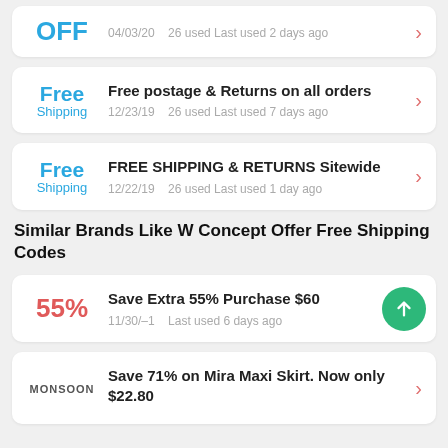OFF  04/03/20  26 used Last used 2 days ago
Free Shipping  Free postage & Returns on all orders  12/23/19  26 used Last used 7 days ago
Free Shipping  FREE SHIPPING & RETURNS Sitewide  12/22/19  26 used Last used 1 day ago
Similar Brands Like W Concept Offer Free Shipping Codes
55%  Save Extra 55% Purchase $60  11/30/-1  Last used 6 days ago
MONSOON  Save 71% on Mira Maxi Skirt. Now only $22.80